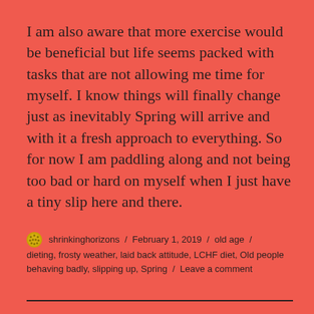I am also aware that more exercise would be beneficial but life seems packed with tasks that are not allowing me time for myself. I know things will finally change just as inevitably Spring will arrive and with it a fresh approach to everything. So for now I am paddling along and not being too bad or hard on myself when I just have a tiny slip here and there.
shrinkinghorizons / February 1, 2019 / old age / dieting, frosty weather, laid back attitude, LCHF diet, Old people behaving badly, slipping up, Spring / Leave a comment